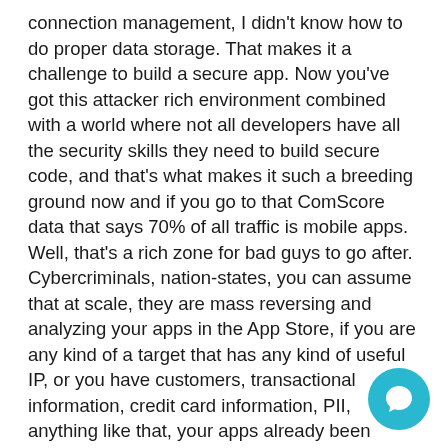connection management, I didn't know how to do proper data storage. That makes it a challenge to build a secure app. Now you've got this attacker rich environment combined with a world where not all developers have all the security skills they need to build secure code, and that's what makes it such a breeding ground now and if you go to that ComScore data that says 70% of all traffic is mobile apps. Well, that's a rich zone for bad guys to go after. Cybercriminals, nation-states, you can assume that at scale, they are mass reversing and analyzing your apps in the App Store, if you are any kind of a target that has any kind of useful IP, or you have customers, transactional information, credit card information, PII, anything like that, your apps already been reversed and modeled somewhere by one or more cybercriminal, or government agencies, nation-states. You need to think about that, and that leads to secure coding practices that leads to using good secure third-party libraries that leads to architecture; there's a whole lot of things more than did I just create a really cool app that
[Figure (other): Teal/cyan circular chat bubble icon in the bottom-right corner of the page]